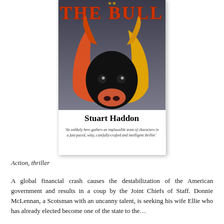[Figure (illustration): Book cover of 'The Bull' by Stuart Haddon. Dark gradient background (gray to light). Large red/orange text 'THE BULL' at top. Stylized bull head illustration in black with orange and yellow horn/face shapes. Author name 'Stuart Haddon' in bold black serif font. Tagline in italic: 'An unlikely hero gathers an implausible team of characters in a fast-paced, witty, carefully-crafted and intelligent thriller.']
Action, thriller
A global financial crash causes the destabilization of the American government and results in a coup by the Joint Chiefs of Staff. Donnie McLennan, a Scotsman with an uncanny talent, is seeking his wife Ellie who has already elected become one of the state to the…